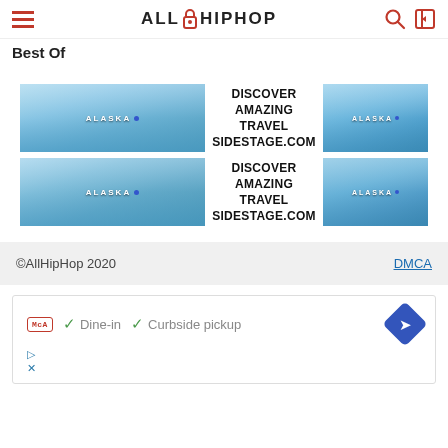ALLHIPHOP
Best Of
[Figure (illustration): Advertisement banner: Alaska glacier image on left and right, center text reads DISCOVER AMAZING TRAVEL SIDESTAGE.COM (first instance)]
[Figure (illustration): Advertisement banner: Alaska glacier image on left and right, center text reads DISCOVER AMAZING TRAVEL SIDESTAGE.COM (second instance)]
©AllHipHop 2020    DMCA
[Figure (screenshot): Ad unit showing MCA badge, checkmarks for Dine-in and Curbside pickup, blue diamond navigation icon, play and X icons at bottom left]